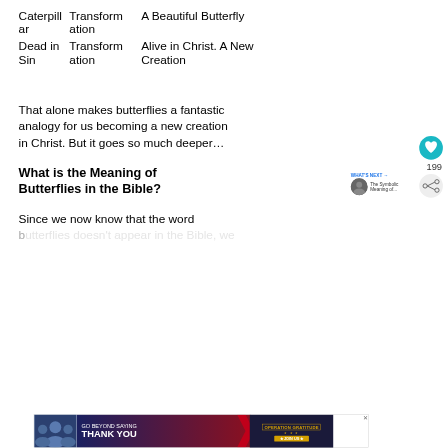| Column1 | Column2 | Column3 |
| --- | --- | --- |
| Caterpillar | Transformation | A Beautiful Butterfly |
| Dead in Sin | Transformation | Alive in Christ. A New Creation |
That alone makes butterflies a fantastic analogy for us becoming a new creation in Christ. But it goes so much deeper…
What is the Meaning of Butterflies in the Bible?
Since we now know that the word b... ...n...ve
[Figure (infographic): Advertisement banner: GO BEYOND SAYING THANK YOU — Operation Gratitude JOIN US]
[Figure (infographic): Heart like button with count 199 and share icon on the right side]
[Figure (infographic): WHAT'S NEXT arrow — The Symbolic Meaning of... with circular thumbnail]